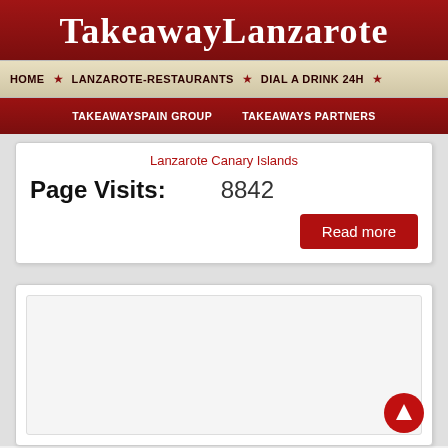TakeawayLanzarote
HOME ★ LANZAROTE-RESTAURANTS ★ DIAL A DRINK 24H ★
TAKEAWAYSPAIN GROUP   TAKEAWAYS PARTNERS
Lanzarote Canary Islands
Page Visits: 8842
Read more
[Figure (other): Empty white content card below the page visits section]